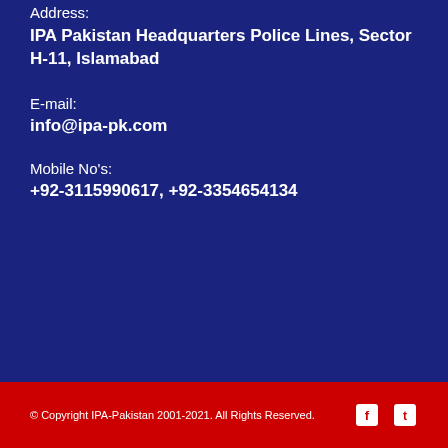Address:
IPA Pakistan Headquarters Police Lines, Sector H-11, Islamabad
E-mail:
info@ipa-pk.com
Mobile No's:
+92-3115990617, +92-3354654134
© Copyright IPA-Pakistan 2001-2021. All Rights Reserved.